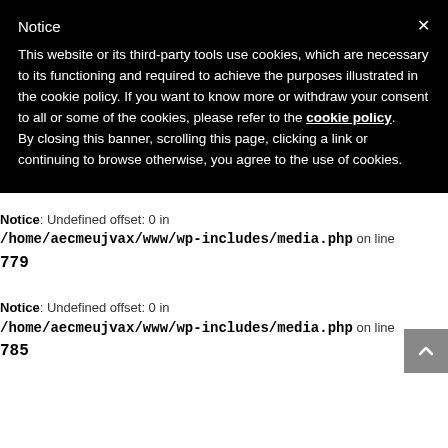Notice
This website or its third-party tools use cookies, which are necessary to its functioning and required to achieve the purposes illustrated in the cookie policy. If you want to know more or withdraw your consent to all or some of the cookies, please refer to the cookie policy.
By closing this banner, scrolling this page, clicking a link or continuing to browse otherwise, you agree to the use of cookies.
Notice: Undefined offset: 0 in /home/aecmeujvax/www/wp-includes/media.php on line 779
Notice: Undefined offset: 0 in /home/aecmeujvax/www/wp-includes/media.php on line 785